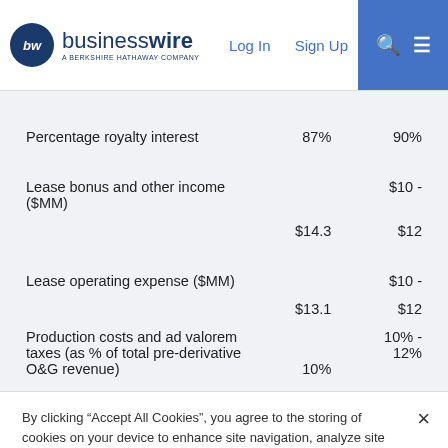businesswire — A BERKSHIRE HATHAWAY COMPANY | Log In | Sign Up
|  | Actual | Guidance |
| --- | --- | --- |
| Percentage royalty interest | 87% | 90% |
| Lease bonus and other income ($MM) | $14.3 | $10 - $12 |
| Lease operating expense ($MM) | $13.1 | $10 - $12 |
| Production costs and ad valorem taxes (as % of total pre-derivative O&G revenue) | 10% | 10% - 12% |
By clicking "Accept All Cookies", you agree to the storing of cookies on your device to enhance site navigation, analyze site usage, and assist in our marketing efforts.  Cookie Policy
Cookies Settings | Accept All Cookies